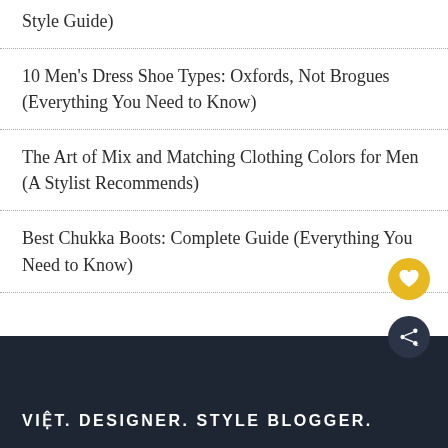Style Guide)
10 Men's Dress Shoe Types: Oxfords, Not Brogues (Everything You Need to Know)
The Art of Mix and Matching Clothing Colors for Men (A Stylist Recommends)
Best Chukka Boots: Complete Guide (Everything You Need to Know)
VIỆT. DESIGNER. STYLE BLOGGER.